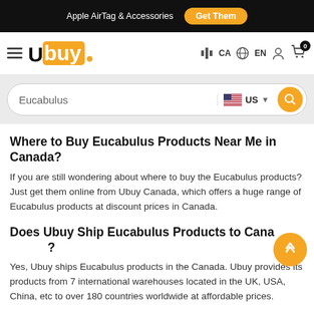Apple AirTag & Accessories  Get Them
[Figure (logo): Ubuy logo with orange box and hamburger menu, CA and EN locale selectors, account icon, and cart with 0 badge]
Eucabulus
Where to Buy Eucabulus Products Near Me in Canada?
If you are still wondering about where to buy the Eucabulus products? Just get them online from Ubuy Canada, which offers a huge range of Eucabulus products at discount prices in Canada.
Does Ubuy Ship Eucabulus Products to Canada?
Yes, Ubuy ships Eucabulus products in the Canada. Ubuy provides its products from 7 international warehouses located in the UK, USA, China, etc to over 180 countries worldwide at affordable prices.